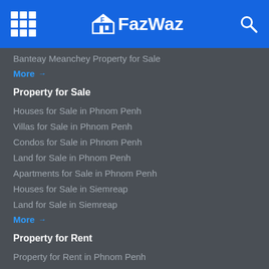FazWaz
Banteay Meanchey Property for Sale
More →
Property for Sale
Houses for Sale in Phnom Penh
Villas for Sale in Phnom Penh
Condos for Sale in Phnom Penh
Land for Sale in Phnom Penh
Apartments for Sale in Phnom Penh
Houses for Sale in Siemreap
Land for Sale in Siemreap
More →
Property for Rent
Property for Rent in Phnom Penh
Property for Rent in Siemreap
Property for Rent in Preah Sihanouk